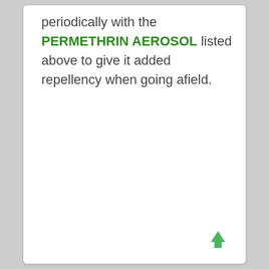periodically with the PERMETHRIN AEROSOL listed above to give it added repellency when going afield.
[Figure (other): Green upward-pointing arrow icon in the bottom-right corner of the page, used as a navigation element to scroll back to top.]